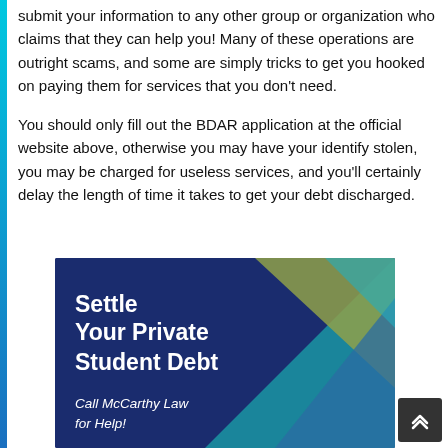submit your information to any other group or organization who claims that they can help you! Many of these operations are outright scams, and some are simply tricks to get you hooked on paying them for services that you don't need.
You should only fill out the BDAR application at the official website above, otherwise you may have your identify stolen, you may be charged for useless services, and you'll certainly delay the length of time it takes to get your debt discharged.
[Figure (illustration): Advertisement banner with dark blue background and diagonal geometric shapes in teal, olive/gold, and blue. Text reads 'Settle Your Private Student Debt' in bold white and 'Call McCarthy Law for Help!' in white italic.]